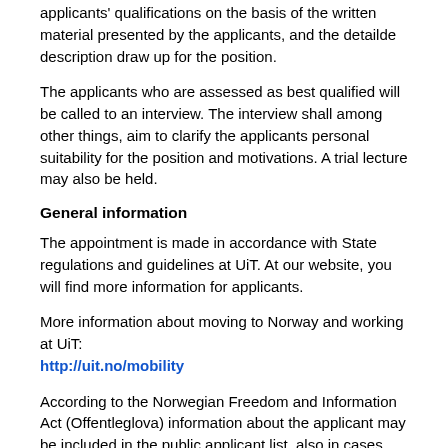applicants' qualifications on the basis of the written material presented by the applicants, and the detailde description draw up for the position.
The applicants who are assessed as best qualified will be called to an interview. The interview shall among other things, aim to clarify the applicants personal suitability for the position and motivations. A trial lecture may also be held.
General information
The appointment is made in accordance with State regulations and guidelines at UiT. At our website, you will find more information for applicants.
More information about moving to Norway and working at UiT: http://uit.no/mobility
According to the Norwegian Freedom and Information Act (Offentleglova) information about the applicant may be included in the public applicant list, also in cases where the applicant has requested non-disclosure.
In case of discrepancies between the Norwegian and the English version of this description, the Norwegian version takes precedence.
UiT - Developing the High North
UiT is a multi-campus research university in Norway and the